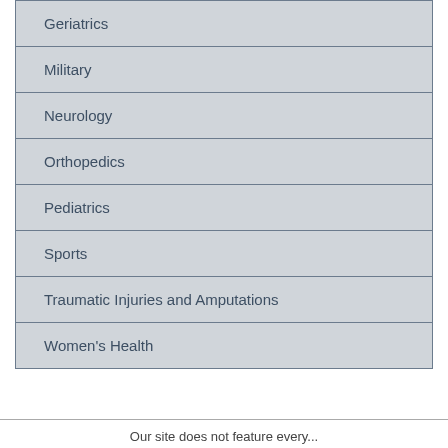| Geriatrics |
| Military |
| Neurology |
| Orthopedics |
| Pediatrics |
| Sports |
| Traumatic Injuries and Amputations |
| Women's Health |
Our site does not feature every...